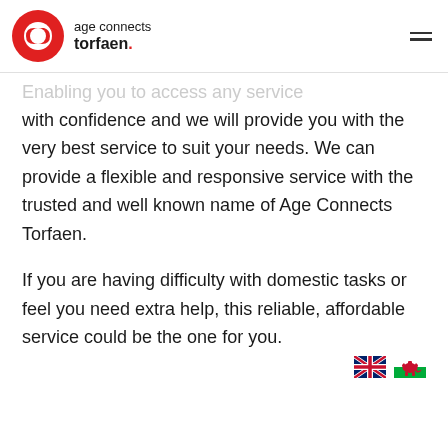age connects torfaen.
Enabling you to access any service with confidence and we will provide you with the very best service to suit your needs. We can provide a flexible and responsive service with the trusted and well known name of Age Connects Torfaen.

If you are having difficulty with domestic tasks or feel you need extra help, this reliable, affordable service could be the one for you.
[Figure (illustration): UK flag (Union Jack) and Welsh Dragon flag icons in the bottom right corner]